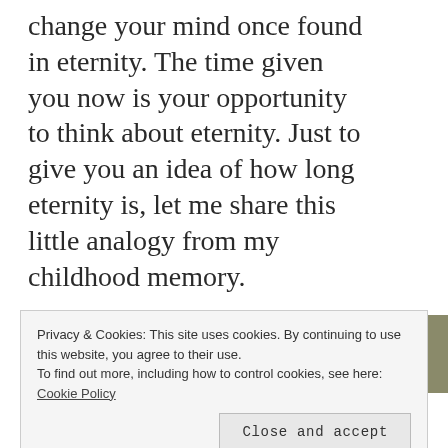change your mind once found in eternity. The time given you now is your opportunity to think about eternity. Just to give you an idea of how long eternity is, let me share this little analogy from my childhood memory.
Imagine a tiny bird that dwells up high in the heavens above; it flies down to earth every 100 years just to take one sip of the waters contained on earth
Privacy & Cookies: This site uses cookies. By continuing to use this website, you agree to their use.
To find out more, including how to control cookies, see here: Cookie Policy
Close and accept
place in the celestial abode to await the